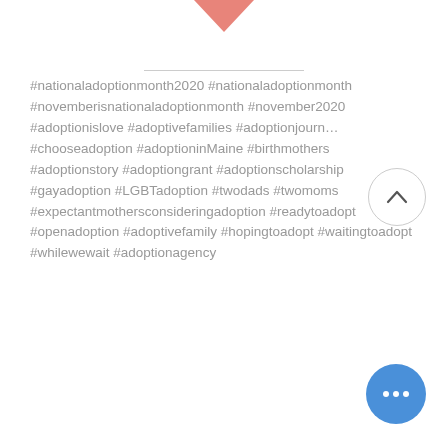[Figure (illustration): Pink/salmon downward-pointing heart or chevron shape at top center of page]
#nationaladoptionmonth2020 #nationaladoptionmonth #novemberisnationaladoptionmonth #november2020 #adoptionislove #adoptivefamilies #adoptionjourney #chooseadoption #adoptioninMaine #birthmothers #adoptionstory #adoptiongrant #adoptionscholarship #gayadoption #LGBTadoption #twodads #twomoms #expectantmothersconsideringadoption #readytoadopt #openadoption #adoptivefamily #hopingtoadopt #waitingtoadopt #whilewewait #adoptionagency